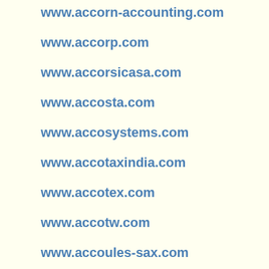www.accorn-accounting.com
www.accorp.com
www.accorsicasa.com
www.accosta.com
www.accosystems.com
www.accotaxindia.com
www.accotex.com
www.accotw.com
www.accoules-sax.com